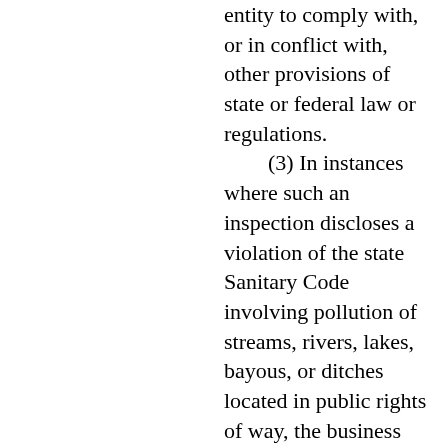entity to comply with, or in conflict with, other provisions of state or federal law or regulations. (3) In instances where such an inspection discloses a violation of the state Sanitary Code involving pollution of streams, rivers, lakes, bayous, or ditches located in public rights of way, the business entity or person deemed to be responsible shall be given an opportunity to correct the noted deficiency, and, if